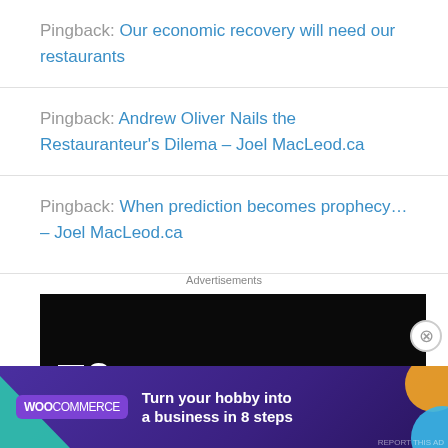Pingback: Our economic recovery will need our restaurants
Pingback: Andrew Oliver Nails the Restauranteur's Dilema – Joel MacLeod.ca
Pingback: When prediction becomes prophecy… – Joel MacLeod.ca
Advertisements
[Figure (other): Black advertisement banner with white square icon and large number 2]
Advertisements
[Figure (other): WooCommerce purple advertisement banner: Turn your hobby into a business in 8 steps]